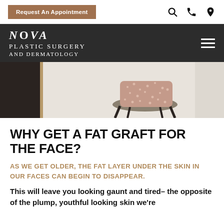Request An Appointment
[Figure (logo): Nova Plastic Surgery and Dermatology logo on dark background with hamburger menu icon]
[Figure (photo): Interior photo showing a decorative pillow on a stool against a light wall with a dark framed artwork]
WHY GET A FAT GRAFT FOR THE FACE?
AS WE GET OLDER, THE FAT LAYER UNDER THE SKIN IN OUR FACES CAN BEGIN TO DISAPPEAR.
This will leave you looking gaunt and tired– the opposite of the plump, youthful looking skin we're